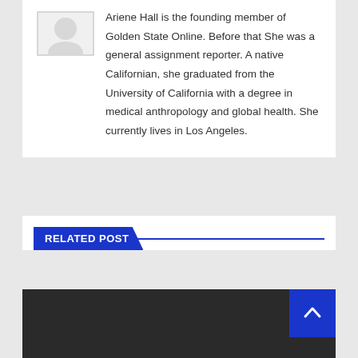[Figure (illustration): Circular avatar placeholder image, light grey with a faint outline]
Ariene Hall is the founding member of Golden State Online. Before that She was a general assignment reporter. A native Californian, she graduated from the University of California with a degree in medical anthropology and global health. She currently lives in Los Angeles.
RELATED POST
[Figure (photo): Dark background image strip for a related post]